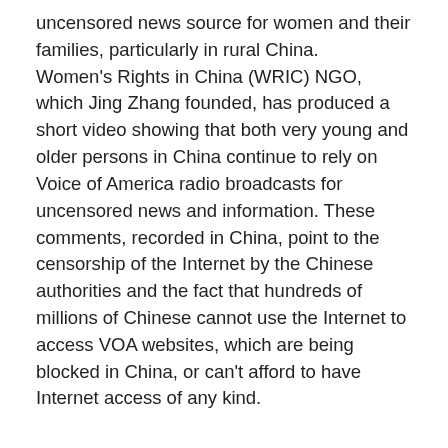uncensored news source for women and their families, particularly in rural China. Women's Rights in China (WRIC) NGO, which Jing Zhang founded, has produced a short video showing that both very young and older persons in China continue to rely on Voice of America radio broadcasts for uncensored news and information. These comments, recorded in China, point to the censorship of the Internet by the Chinese authorities and the fact that hundreds of millions of Chinese cannot use the Internet to access VOA websites, which are being blocked in China, or can't afford to have Internet access of any kind.